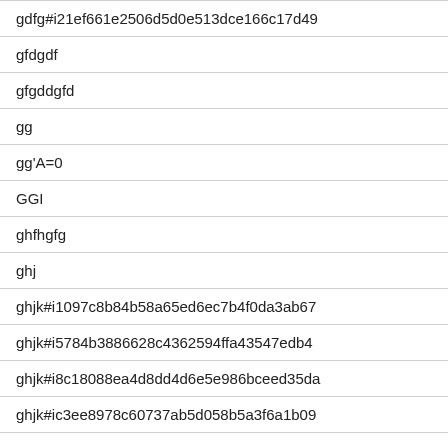gdfg#i21ef661e2506d5d0e513dce166c17d49
gfdgdf
gfgddgfd
gg
gg'A=0
GGI
ghfhgfg
ghj
ghjk#i1097c8b84b58a65ed6ec7b4f0da3ab67
ghjk#i5784b3886628c4362594ffa43547edb4
ghjk#i8c18088ea4d8dd4d6e5e986bceed35da
ghjk#ic3ee8978c60737ab5d058b5a3f6a1b09